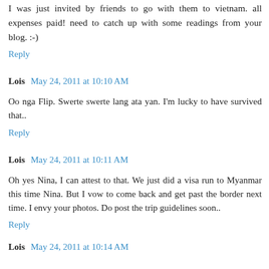I was just invited by friends to go with them to vietnam. all expenses paid! need to catch up with some readings from your blog. :-)
Reply
Lois  May 24, 2011 at 10:10 AM
Oo nga Flip. Swerte swerte lang ata yan. I'm lucky to have survived that..
Reply
Lois  May 24, 2011 at 10:11 AM
Oh yes Nina, I can attest to that. We just did a visa run to Myanmar this time Nina. But I vow to come back and get past the border next time. I envy your photos. Do post the trip guidelines soon..
Reply
Lois  May 24, 2011 at 10:14 AM